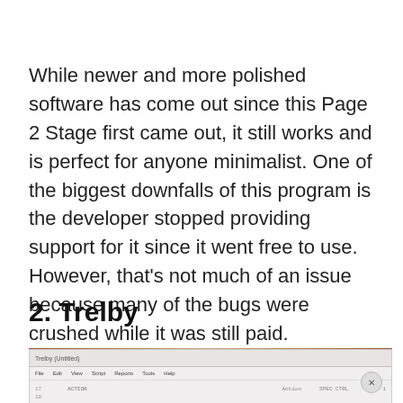While newer and more polished software has come out since this Page 2 Stage first came out, it still works and is perfect for anyone minimalist. One of the biggest downfalls of this program is the developer stopped providing support for it since it went free to use. However, that's not much of an issue because many of the bugs were crushed while it was still paid.
2. Trelby
[Figure (screenshot): Screenshot of the Trelby screenwriting software application window, showing a menu bar with File, Edit, View, Script, Reports, Tools, Help options, and document content area with line numbers. A circular close/dismiss button appears in the lower right.]